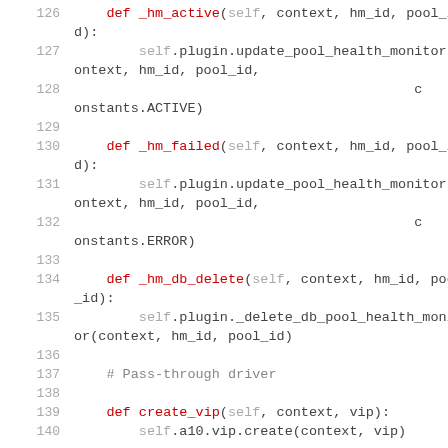[Figure (screenshot): Source code listing showing Python class methods: _hm_active, _hm_failed, _hm_db_delete, create_vip with line numbers 126-140]